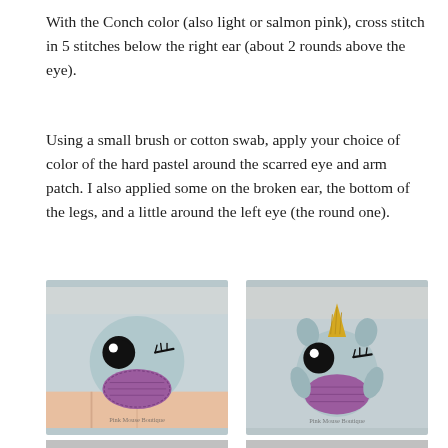With the Conch color (also light or salmon pink), cross stitch in 5 stitches below the right ear (about 2 rounds above the eye).
Using a small brush or cotton swab, apply your choice of color of the hard pastel around the scarred eye and arm patch. I also applied some on the broken ear, the bottom of the legs, and a little around the left eye (the round one).
[Figure (photo): Close-up of a small crochet amigurumi unicorn head held between fingers. The figure has a light blue/grey body, large black round eye with white highlight, black eyelash stitches, and a purple crocheted muzzle. A watermark reads Pink Mouse Boutique.]
[Figure (photo): Front view of a small crochet amigurumi unicorn with a light blue/grey body, gold/yellow horn, grey ears, large black eye with lash, purple crocheted muzzle, and arms visible. A watermark reads Pink Mouse Boutique.]